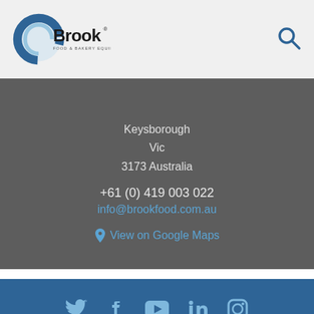[Figure (logo): Brook Food & Bakery Equipment logo — circular blue arc with the word Brook in bold black and tagline FOOD & BAKERY EQUIPMENT below]
[Figure (other): Search magnifying glass icon in dark blue]
Keysborough
Vic
3173 Australia
+61 (0) 419 003 022
info@brookfood.com.au
View on Google Maps
[Figure (other): Social media icons row: Twitter, Facebook, YouTube, LinkedIn, Instagram — all in light blue on dark blue background]